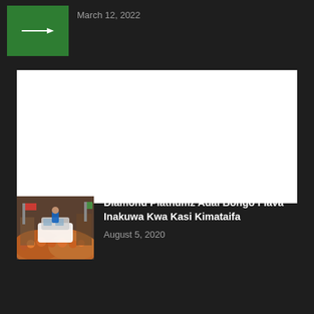[Figure (photo): Green thumbnail with a white horizontal line/arrow icon, representing a placeholder or logo image]
March 12, 2022
[Figure (photo): Large white blank image block placeholder]
[Figure (photo): Thumbnail showing a large crowd of people with a vehicle visible, Diamond Platnumz event photo]
Diamond Platnumz Adai Bongo Flava Inakuwa Kwa Kasi Kimataifa
August 5, 2020